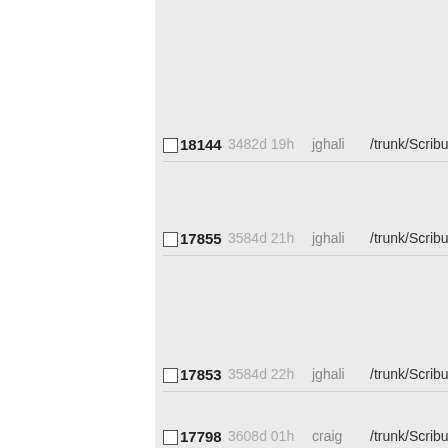|  | Rev | Age | Author | Path |
| --- | --- | --- | --- | --- |
| ☐ | 18144 | 3482d 19h | jghali | /trunk/Scribus/scribus... |
| ☐ | 17855 | 3584d 21h | jghali | /trunk/Scribus/scribus... |
| ☐ | 17853 | 3584d 22h | jghali | /trunk/Scribus/scribus... |
| ☐ | 17798 | 3608d 01h | craig | /trunk/Scribus/scribus... |